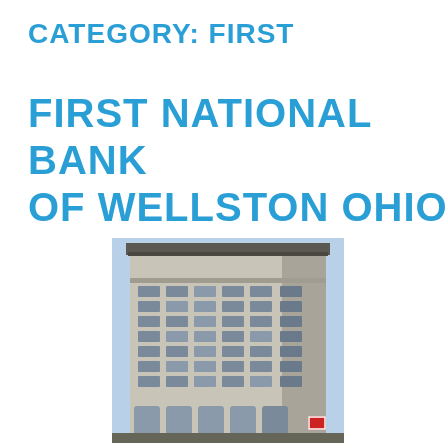CATEGORY: FIRST
FIRST NATIONAL BANK OF WELLSTON OHIO
[Figure (photo): Photograph of a tall multi-story classical bank building (First National Bank of Wellston Ohio), a light-colored limestone or granite high-rise with arched windows at the base and a grid of rectangular windows on upper floors, photographed from street level against a blue sky.]